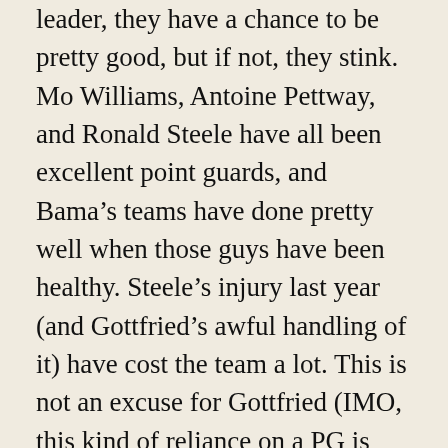leader, they have a chance to be pretty good, but if not, they stink. Mo Williams, Antoine Pettway, and Ronald Steele have all been excellent point guards, and Bama's teams have done pretty well when those guys have been healthy. Steele's injury last year (and Gottfried's awful handling of it) have cost the team a lot. This is not an excuse for Gottfried (IMO, this kind of reliance on a PG is inexcusable), but it's a fact. If Steele is healthy next year, Bama will be okay, but they will repeat the same pattern when he gets hurt or graduates.
Why do I think this is the case? I don't think Gottfried's plays are that organized and he doesn't seem to teach the players passing